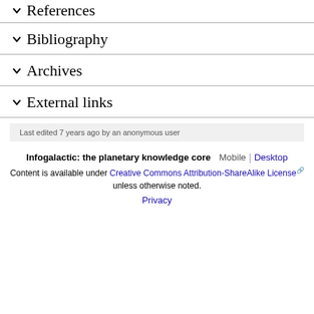References
Bibliography
Archives
External links
Last edited 7 years ago by an anonymous user
Infogalactic: the planetary knowledge core   Mobile | Desktop
Content is available under Creative Commons Attribution-ShareAlike License unless otherwise noted.
Privacy